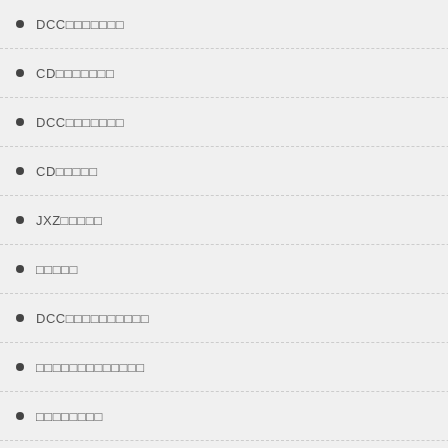DCC□□□□□□□
CD□□□□□□□
DCC□□□□□□□
CD□□□□□
JXZ□□□□□
□□□□□
DCC□□□□□□□□□□
□□□□□□□□□□□□□
□□□□□□□□
□□□□□□□□□□□□□□
□□□□□□□□□□□□□□
□□□□□□□□
□□□□□□□□
□□□□□□□□□
□□□□□
□□□□□□□□
□□□
□□□□
□□□□
□□□□
□□
13524730762
18149778751